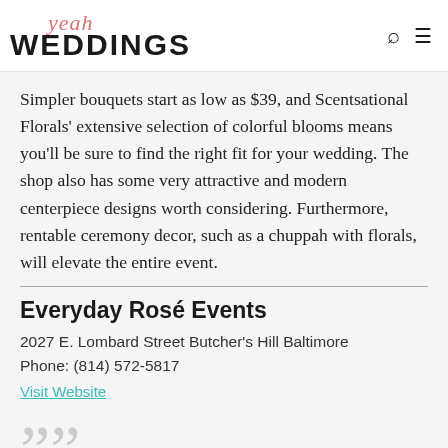yeah WEDDINGS
Simpler bouquets start as low as $39, and Scentsational Florals' extensive selection of colorful blooms means you'll be sure to find the right fit for your wedding. The shop also has some very attractive and modern centerpiece designs worth considering. Furthermore, rentable ceremony decor, such as a chuppah with florals, will elevate the entire event.
Everyday Rosé Events
2027 E. Lombard Street Butcher's Hill Baltimore
Phone: (814) 572-5817
Visit Website